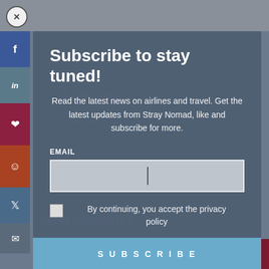[Figure (screenshot): Website popup modal: Subscribe to stay tuned overlay on a travel blog called Stray Nomad. Background shows social sharing sidebar (Facebook, LinkedIn, Pinterest, Reddit, Twitter, Email), Archives dropdown, Categories dropdown, Meta section, and Log in link. Modal contains headline, description text, email input field, privacy policy checkbox, and Subscribe button.]